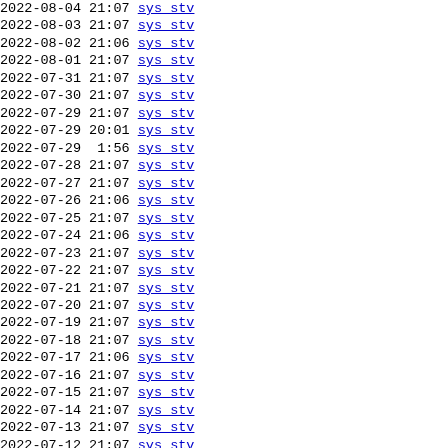2022-08-04 21:07 sys stv
2022-08-03 21:07 sys stv
2022-08-02 21:06 sys stv
2022-08-01 21:07 sys stv
2022-07-31 21:07 sys stv
2022-07-30 21:07 sys stv
2022-07-29 21:07 sys stv
2022-07-29 20:01 sys stv
2022-07-29  1:56 sys stv
2022-07-28 21:07 sys stv
2022-07-27 21:07 sys stv
2022-07-26 21:06 sys stv
2022-07-25 21:07 sys stv
2022-07-24 21:06 sys stv
2022-07-23 21:07 sys stv
2022-07-22 21:07 sys stv
2022-07-21 21:07 sys stv
2022-07-20 21:07 sys stv
2022-07-19 21:07 sys stv
2022-07-18 21:07 sys stv
2022-07-17 21:06 sys stv
2022-07-16 21:07 sys stv
2022-07-15 21:07 sys stv
2022-07-14 21:07 sys stv
2022-07-13 21:07 sys stv
2022-07-12 21:07 sys stv
2022-07-12  1:50 sys stv
2022-07-11 21:07 sys stv
2022-07-10 21:07 sys stv
2022-07-09 21:07 sys stv